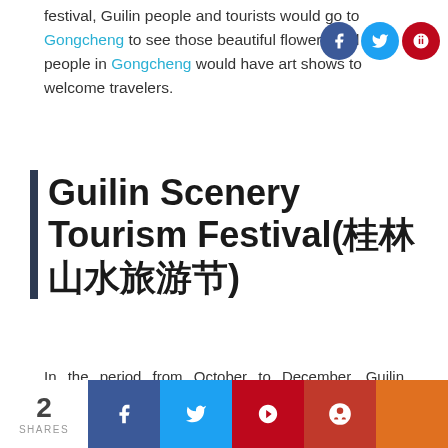festival, Guilin people and tourists would go to Gongcheng to see those beautiful flowers and people in Gongcheng would have art shows to welcome travelers.
Guilin Scenery Tourism Festival(桂林山水旅游节)
In the period from October to December, Guilin Scenery Tourism Festival would be held, which is one of the biggest cultural tourism festivals, and it was initially held in 1992. During the festival, there are lots of activities from several topics, like tourism, culture sports and exhibition, which present the culture and scenery of Guilin to the world and enrich people's life, and some programs of its art show are performances played by foreigners. This festival shows Guilin's
2 SHARES